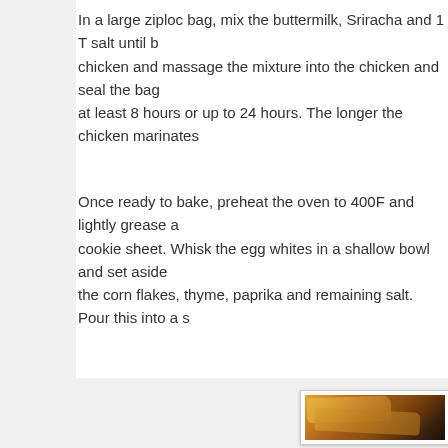In a large ziploc bag, mix the buttermilk, Sriracha and 1 T salt until blended. Add the chicken and massage the mixture into the chicken and seal the bag. Refrigerate for at least 8 hours or up to 24 hours. The longer the chicken marinates,
Once ready to bake, preheat the oven to 400F and lightly grease a wire rack on a cookie sheet. Whisk the egg whites in a shallow bowl and set aside. In a blender add the corn flakes, thyme, paprika and remaining salt. Pour this into a s
[Figure (photo): Close-up photo of crispy corn flake-coated baked chicken strips/tenders arranged on a wire rack, showing golden-brown crunchy coating with visible corn flake texture.]